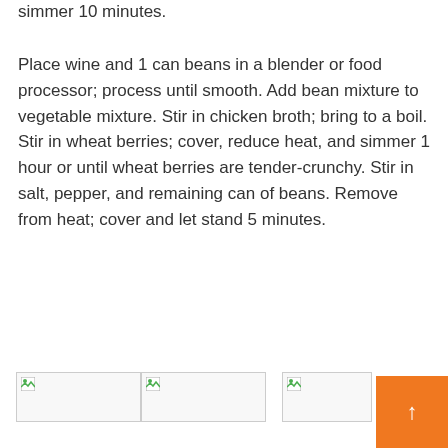simmer 10 minutes.
Place wine and 1 can beans in a blender or food processor; process until smooth. Add bean mixture to vegetable mixture. Stir in chicken broth; bring to a boil. Stir in wheat berries; cover, reduce heat, and simmer 1 hour or until wheat berries are tender-crunchy. Stir in salt, pepper, and remaining can of beans. Remove from heat; cover and let stand 5 minutes.
[Figure (photo): Three thumbnail images of food/recipe photos shown at the bottom of the page, partially visible. An orange scroll-to-top button overlaps the bottom right.]